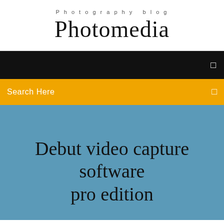Photography blog
Photomedia
[Figure (screenshot): Black navigation bar with a small white icon on the right]
[Figure (screenshot): Yellow/orange search bar with 'Search Here' text in white on the left and a small white icon on the right]
Debut video capture software pro edition